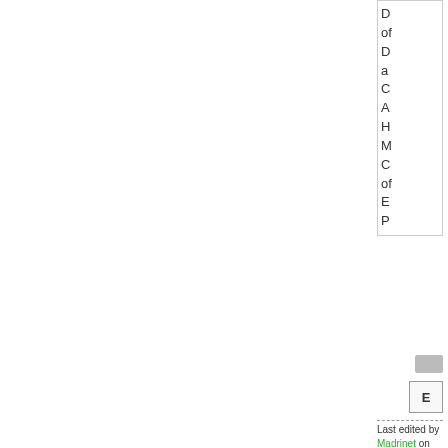D of D a C A H M C of E P
[Figure (other): Small grey rectangle button/icon]
E
Last edited by Madrinet on Wed Feb 16, 2022 3:56